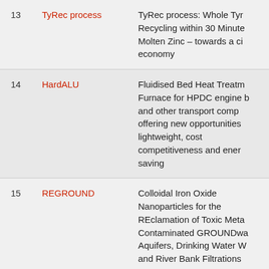|  |  |  |
| --- | --- | --- |
| 13 | TyRec process | TyRec process: Whole Tyr Recycling within 30 Minute Molten Zinc – towards a ci economy |
| 14 | HardALU | Fluidised Bed Heat Treatm Furnace for HPDC engine b and other transport comp offering new opportunities lightweight, cost competitiveness and ener saving |
| 15 | REGROUND | Colloidal Iron Oxide Nanoparticles for the REclamation of Toxic Meta Contaminated GROUNDwa Aquifers, Drinking Water W and River Bank Filtrations |
| 16 | PhotoniX | PHOtonic Transmitters fo |